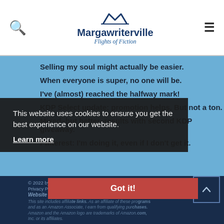Margawriterville — Flights of Fiction
Selling my soul might actually be easier.
When everyone is super, no one will be.
I've (almost) reached the halfway mark!
KDP Select update: promotion helps. But not a ton.
Mixed–but better–results with second KDP giveaway.
Pinterest: I'm doing it, even if I don't get it.
This website uses cookies to ensure you get the best experience on our website.
Learn more
Got it!
© 2022 by Biff Cokas
Website by GoCreate.me
This site includes affiliate links. As an affiliate of these programs and as an Amazon Associate, I earn from qualifying purchases. Amazon and the Amazon logo are trademarks of Amazon.com, Inc. or its affiliates.